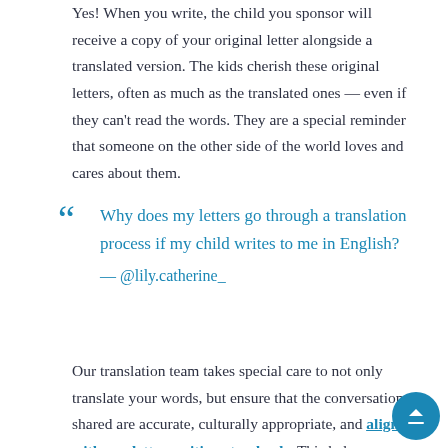Yes! When you write, the child you sponsor will receive a copy of your original letter alongside a translated version. The kids cherish these original letters, often as much as the translated ones — even if they can't read the words. They are a special reminder that someone on the other side of the world loves and cares about them.
“ Why does my letters go through a translation process if my child writes to me in English? — @lily.catherine_
Our translation team takes special care to not only translate your words, but ensure that the conversations shared are accurate, culturally appropriate, and aligned with our letter-writing standards. This helps encourage a growing